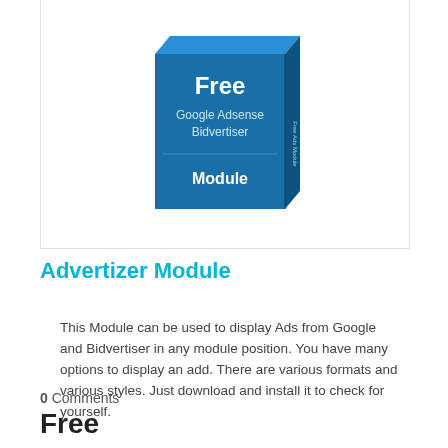[Figure (illustration): 3D blue box/package illustration labeled 'Free Google Adsense Bidvertiser Module']
Advertizer Module
This Module can be used to display Ads from Google and Bidvertiser in any module position. You have many options to display an add. There are various formats and various styles. Just download and install it to check for yourself.
0  Comments
Free